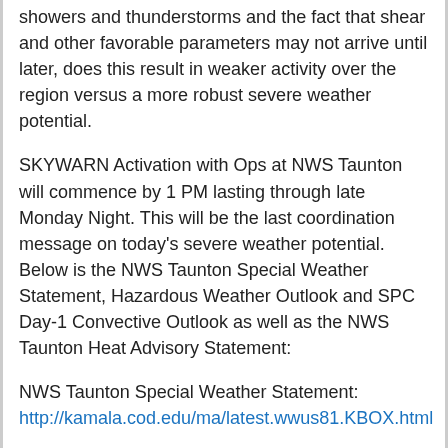showers and thunderstorms and the fact that shear and other favorable parameters may not arrive until later, does this result in weaker activity over the region versus a more robust severe weather potential.
SKYWARN Activation with Ops at NWS Taunton will commence by 1 PM lasting through late Monday Night. This will be the last coordination message on today's severe weather potential. Below is the NWS Taunton Special Weather Statement, Hazardous Weather Outlook and SPC Day-1 Convective Outlook as well as the NWS Taunton Heat Advisory Statement:
NWS Taunton Special Weather Statement:
http://kamala.cod.edu/ma/latest.wwus81.KBOX.html
NWS Taunton Hazardous Weather Outlook:
http://kamala.cod.edu/ma/latest.flus41.KBOX.html